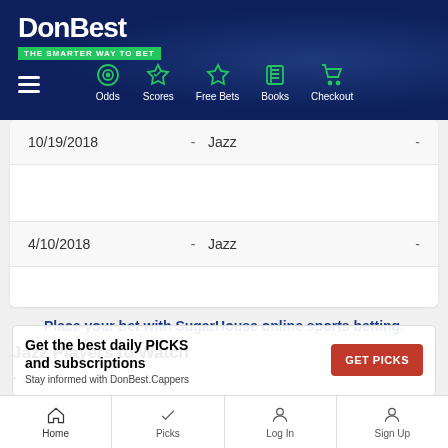[Figure (screenshot): DonBest website header with logo and navigation icons (Odds, Scores, Free Bets, Books, Checkout)]
| Date |  | Team | Score |
| --- | --- | --- | --- |
| 10/19/2018 | - | Jazz | - |
| 4/10/2018 | - | Jazz | - |
Place your bet with SugarHouse online sports betting.
Jazz Players to Watch
[Figure (infographic): Ad banner: Get the best daily PICKS and subscriptions. Stay informed with DonBest.Cappers. GET PICKS button.]
...ell,
...sists
Home | Picks | Log In | Sign Up